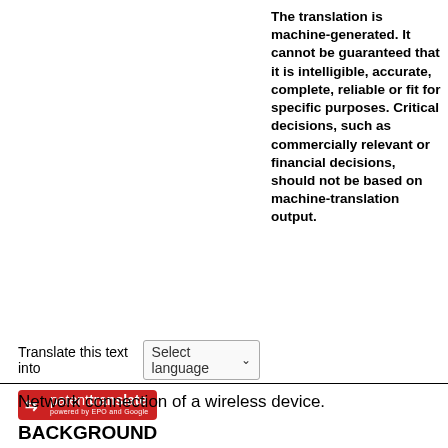The translation is machine-generated. It cannot be guaranteed that it is intelligible, accurate, complete, reliable or fit for specific purposes. Critical decisions, such as commercially relevant or financial decisions, should not be based on machine-translation output.
Translate this text into  Select language
[Figure (logo): Patent Translate logo: red rectangle with arrows icon and 'patenttranslate' text, 'powered by EPO and Google' subtitle]
Network connection of a wireless device.
BACKGROUND